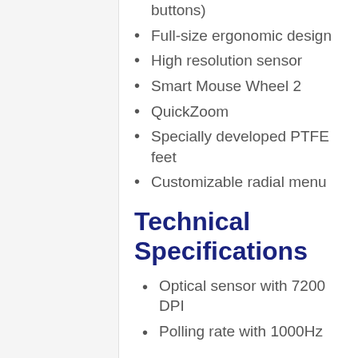buttons)
Full-size ergonomic design
High resolution sensor
Smart Mouse Wheel 2
QuickZoom
Specially developed PTFE feet
Customizable radial menu
Technical Specifications
Optical sensor with 7200 DPI
Polling rate with 1000Hz